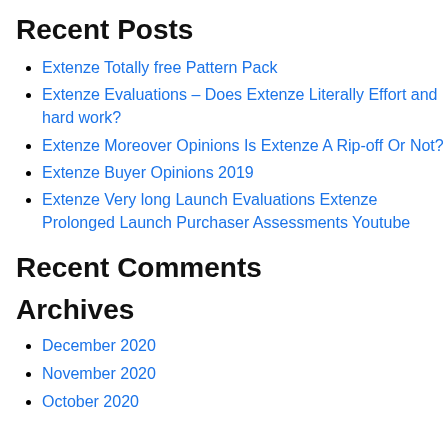Recent Posts
Extenze Totally free Pattern Pack
Extenze Evaluations – Does Extenze Literally Effort and hard work?
Extenze Moreover Opinions Is Extenze A Rip-off Or Not?
Extenze Buyer Opinions 2019
Extenze Very long Launch Evaluations Extenze Prolonged Launch Purchaser Assessments Youtube
Recent Comments
Archives
December 2020
November 2020
October 2020